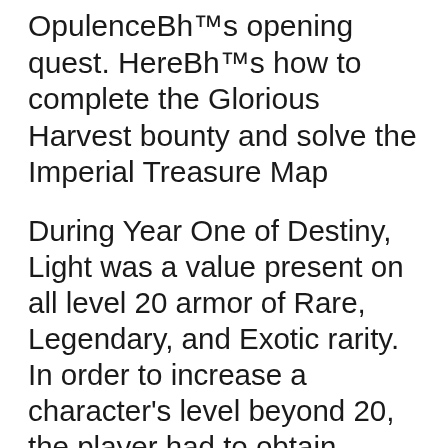OpulenceвЂ™s opening quest. HereвЂ™s how to complete the Glorious Harvest bounty and solve the Imperial Treasure Map
During Year One of Destiny, Light was a value present on all level 20 armor of Rare, Legendary, and Exotic rarity. In order to increase a character's level beyond 20, the player had to obtain armor with more and more Light, which would give them a Light level between 21 and 34 depending on the Light вЂ¦ Light Levels and leveling up Destiny 2 Guide. 0. Post Comment . 0. 0. Next Levels and leveling up How to increase your level fast Prev Levels and leveling up Experience. Power/Light depends on